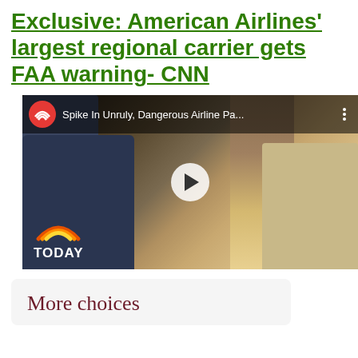Exclusive: American Airlines' largest regional carrier gets FAA warning- CNN
[Figure (screenshot): Embedded video thumbnail from TODAY showing airplane interior with passengers seated, title 'Spike In Unruly, Dangerous Airline Pa...' with TODAY network logo overlay and play button]
More choices